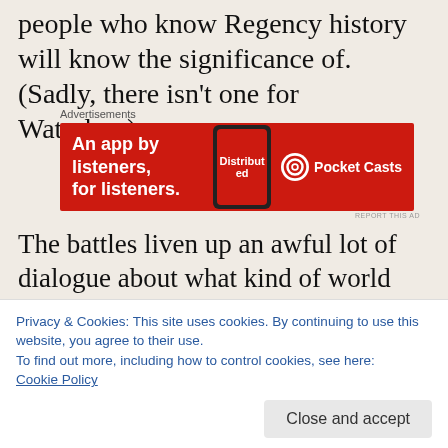people who know Regency history will know the significance of. (Sadly, there isn’t one for Waterloo.)
[Figure (other): Advertisement banner for Pocket Casts app: red background with text 'An app by listeners, for listeners.' and a phone graphic showing 'Distributed' text, Pocket Casts logo on right.]
The battles liven up an awful lot of dialogue about what kind of world the various characters want to create. William Wilberforce and Fina cross verbal swords with Pitt about abolition, who keeps putting it off to focus on fighting a war and maintaining power against idiots who would muck it all up. Meanwhile
Privacy & Cookies: This site uses cookies. By continuing to use this website, you agree to their use.
To find out more, including how to control cookies, see here:
Cookie Policy
and push Great Britain and Europe back into the dark